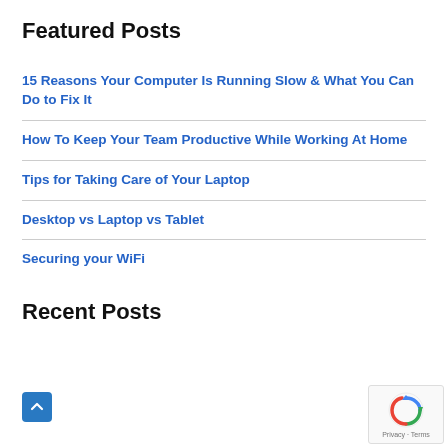Featured Posts
15 Reasons Your Computer Is Running Slow & What You Can Do to Fix It
How To Keep Your Team Productive While Working At Home
Tips for Taking Care of Your Laptop
Desktop vs Laptop vs Tablet
Securing your WiFi
Recent Posts
[Figure (logo): reCAPTCHA privacy badge with Google logo and Privacy · Terms text]